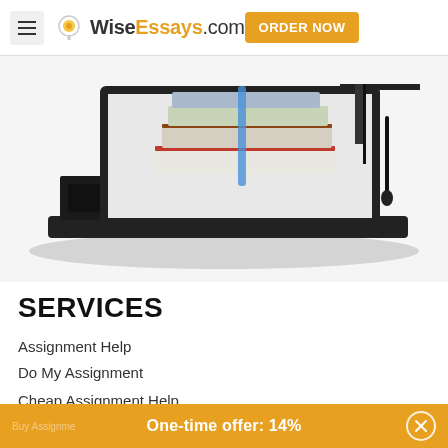WiseEssays.com | ORDER NOW
[Figure (photo): Laptop with stack of books and graduation cap on white background]
SERVICES
Assignment Help
Do My Assignment
Cheap Assignment Help
One-time offer: 14%